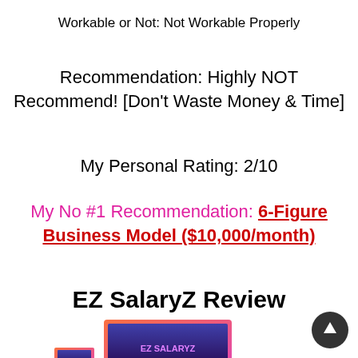Workable or Not: Not Workable Properly
Recommendation: Highly NOT Recommend! [Don't Waste Money & Time]
My Personal Rating: 2/10
My No #1 Recommendation: 6-Figure Business Model ($10,000/month)
EZ SalaryZ Review
[Figure (photo): Product image of EZ SalaryZ showing tablet and other device mockups with the EZ SalaryZ logo on screen]